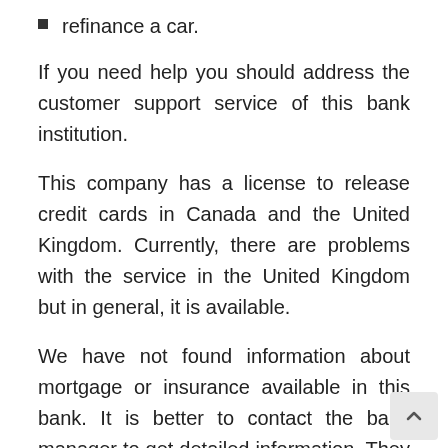refinance a car.
If you need help you should address the customer support service of this bank institution.
This company has a license to release credit cards in Canada and the United Kingdom. Currently, there are problems with the service in the United Kingdom but in general, it is available.
We have not found information about mortgage or insurance available in this bank. It is better to contact the bank manager to get detailed information. They will carry out a consultation with you face to face.